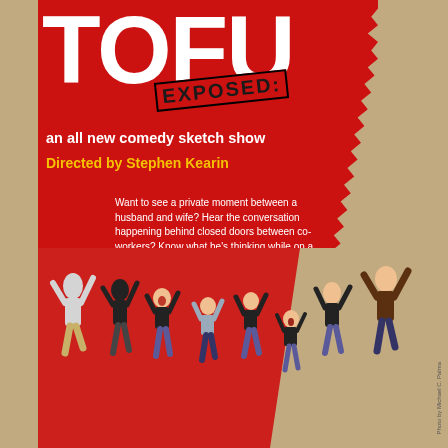TOFU EXPOSED:
an all new comedy sketch show
Directed by Stephen Kearin
Want to see a private moment between a husband and wife? Hear the conversation happening behind closed doors between co-workers? Know what he's thinking while on a first date? Uncover the secret lives of your favorite Cold Tofu members with Tofu Exposed: an all new sketch comedy show written by the cast.
[Figure (photo): Cast of Cold Tofu jumping in the air against a tan/beige background, group of approximately 9-10 people in casual clothes (black and light colored shirts)]
Photo by Michael C. Palma